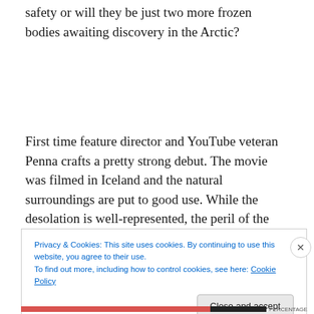safety or will they be just two more frozen bodies awaiting discovery in the Arctic?
First time feature director and YouTube veteran Penna crafts a pretty strong debut. The movie was filmed in Iceland and the natural surroundings are put to good use. While the desolation is well-represented, the peril of the Arctic really doesn’t come to the fore until the second half
Privacy & Cookies: This site uses cookies. By continuing to use this website, you agree to their use.
To find out more, including how to control cookies, see here: Cookie Policy